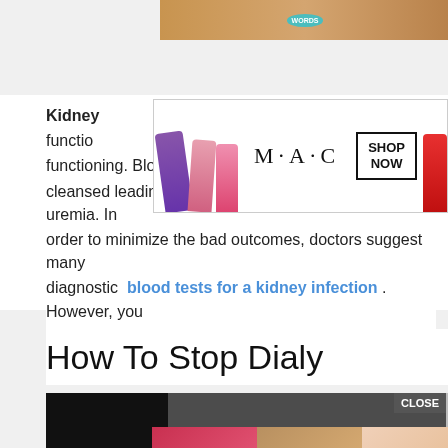[Figure (screenshot): Top image banner with orange/golden background and teal WORDS badge]
[Figure (screenshot): MAC cosmetics advertisement banner showing lipsticks and SHOP NOW button]
Kidney [partially obscured] function [partially obscured] stops functioning. Blood passing through the kidney is not cleansed leading to high concentration levels of uremia. In order to minimize the bad outcomes, doctors suggest many diagnostic blood tests for a kidney infection. However, you can enhance and improve certain [obscured] order to avoid dialysis.
[Figure (screenshot): Black video popup overlay with X close button]
How To Stop Dialy[sis - partially obscured by popup]
[Figure (screenshot): Bottom black video area]
[Figure (screenshot): ULTA Beauty advertisement banner with makeup images and SHOP NOW button]